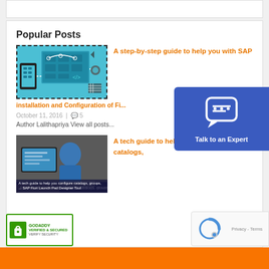Popular Posts
[Figure (illustration): Technical diagram showing SAP Fiori design tool with connected devices and screens in teal/blue colors]
A step-by-step guide to help you with SAP installation and Configuration of Fiori...
October 11, 2016 | 💬 5
Author Lalithapriya View all posts...
[Figure (photo): Man sitting at desk looking at computer monitors]
A tech guide to help you configure catalogs,
[Figure (other): Talk to an Expert button overlay with chat bubble icon on blue background]
[Figure (logo): GoDaddy Verified & Secured badge with lock icon]
[Figure (other): reCAPTCHA Privacy - Terms badge]